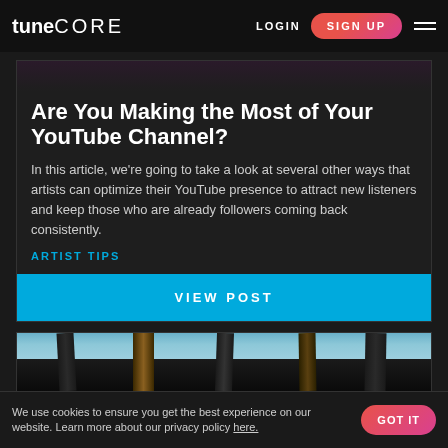tuneCORE | LOGIN | SIGN UP
Are You Making the Most of Your YouTube Channel?
In this article, we're going to take a look at several other ways that artists can optimize their YouTube presence to attract new listeners and keep those who are already followers coming back consistently.
ARTIST TIPS
VIEW POST
[Figure (photo): Photo of multiple electric guitars hanging on a wall with a blue sky background]
We use cookies to ensure you get the best experience on our website. Learn more about our privacy policy here. GOT IT